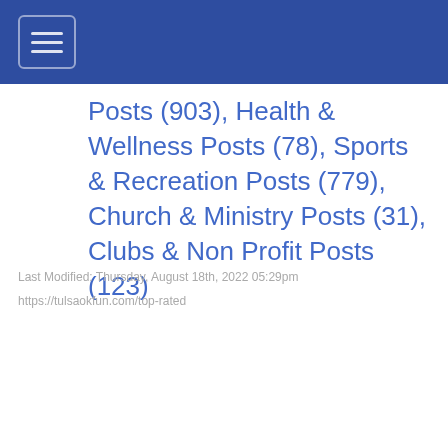[navigation bar with hamburger menu]
Posts (903), Health & Wellness Posts (78), Sports & Recreation Posts (779), Church & Ministry Posts (31), Clubs & Non Profit Posts (123)
Last Modified: Thursday, August 18th, 2022 05:29pm
https://tulsaokfun.com/top-rated